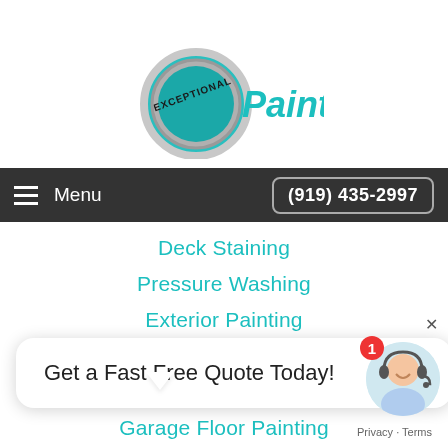[Figure (logo): Exceptional Painting logo with paint can lid and teal text]
Menu   (919) 435-2997
Deck Staining
Pressure Washing
Exterior Painting
Commercial Painting
Apartment Painting
Garage Floor Painting
Painting Prices
Wallpaper Removal
Get a Fast Free Quote Today!
[Figure (photo): Chat widget with customer service representative avatar and red notification badge showing 1]
Privacy · Terms